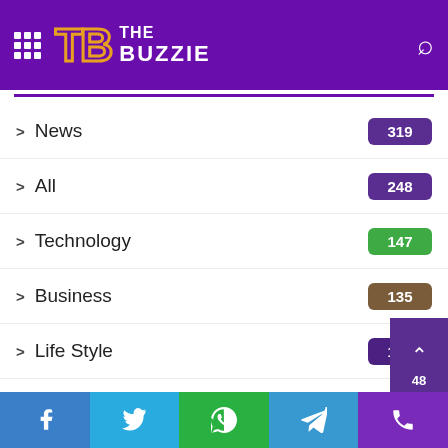THE BUZZIE - navigation menu header
News 319
All 248
Technology 147
Business 135
Life Style 126
Health 113
Sports 70
Home Improvement 56
Fashion
Education
Facebook Twitter WhatsApp Telegram Phone